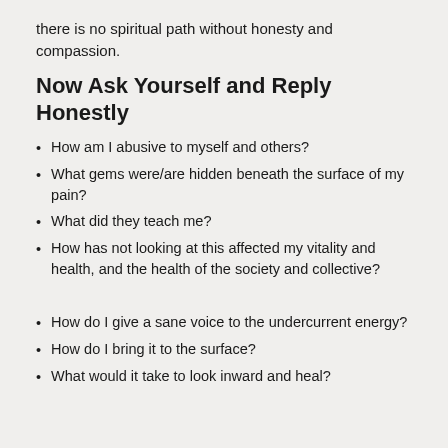there is no spiritual path without honesty and compassion.
Now Ask Yourself and Reply Honestly
How am I abusive to myself and others?
What gems were/are hidden beneath the surface of my pain?
What did they teach me?
How has not looking at this affected my vitality and health, and the health of the society and collective?
How do I give a sane voice to the undercurrent energy?
How do I bring it to the surface?
What would it take to look inward and heal?